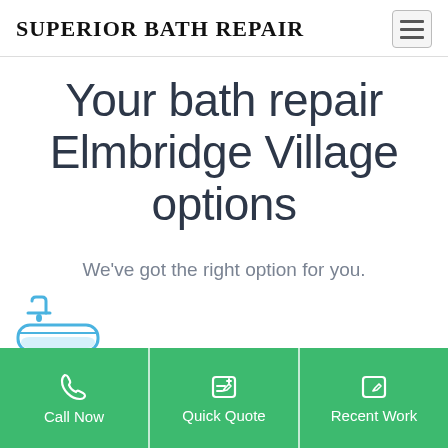SUPERIOR BATH REPAIR
Your bath repair Elmbridge Village options
We've got the right option for you.
[Figure (illustration): Blue bathtub icon illustration]
Call Now
Quick Quote
Recent Work